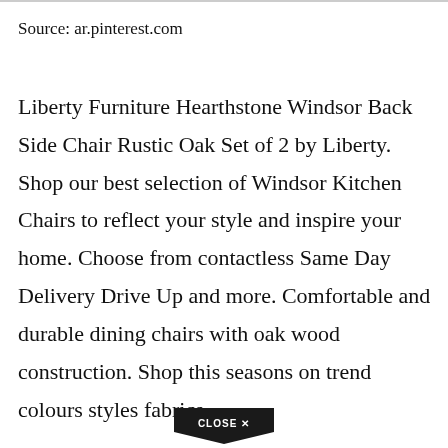Source: ar.pinterest.com
Liberty Furniture Hearthstone Windsor Back Side Chair Rustic Oak Set of 2 by Liberty. Shop our best selection of Windsor Kitchen Chairs to reflect your style and inspire your home. Choose from contactless Same Day Delivery Drive Up and more. Comfortable and durable dining chairs with oak wood construction. Shop this seasons on trend colours styles fabrics.
[Figure (other): CLOSE X button UI element at bottom center of page]